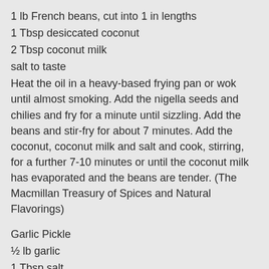1 lb French beans, cut into 1 in lengths
1 Tbsp desiccated coconut
2 Tbsp coconut milk
salt to taste
Heat the oil in a heavy-based frying pan or wok until almost smoking. Add the nigella seeds and chilies and fry for a minute until sizzling. Add the beans and stir-fry for about 7 minutes. Add the coconut, coconut milk and salt and cook, stirring, for a further 7-10 minutes or until the coconut milk has evaporated and the beans are tender. (The Macmillan Treasury of Spices and Natural Flavorings)
Garlic Pickle
½ lb garlic
1 Tbsp salt
3 Tbsp fennel seeds
1 Tbsp black peppercorns